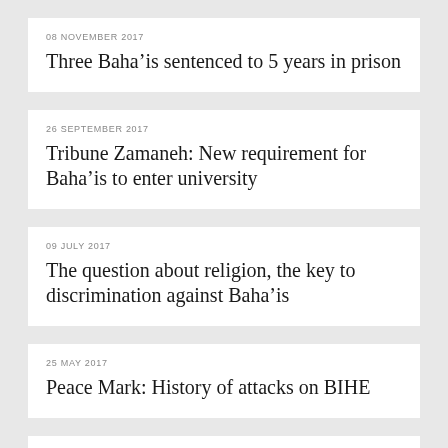08 NOVEMBER 2017
Three Baha'is sentenced to 5 years in prison
26 SEPTEMBER 2017
Tribune Zamaneh: New requirement for Baha'is to enter university
09 JULY 2017
The question about religion, the key to discrimination against Baha'is
25 MAY 2017
Peace Mark: History of attacks on BIHE
12 MAY 2017
Education is not a crime (Farsi version)